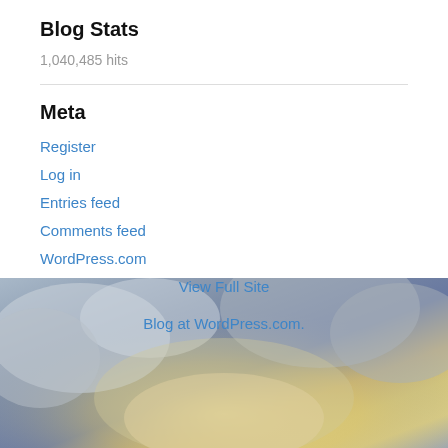Blog Stats
1,040,485 hits
Meta
Register
Log in
Entries feed
Comments feed
WordPress.com
View Full Site
Blog at WordPress.com.